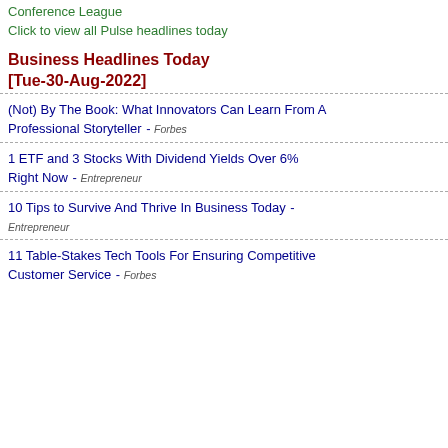Conference League
Click to view all Pulse headlines today
Business Headlines Today [Tue-30-Aug-2022]
(Not) By The Book: What Innovators Can Learn From A Professional Storyteller - Forbes
1 ETF and 3 Stocks With Dividend Yields Over 6% Right Now - Entrepreneur
10 Tips to Survive And Thrive In Business Today - Entrepreneur
11 Table-Stakes Tech Tools For Ensuring Competitive Customer Service - Forbes